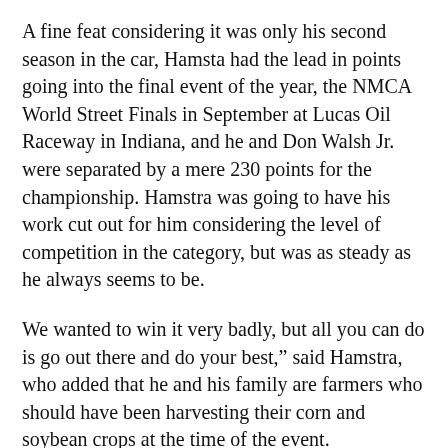A fine feat considering it was only his second season in the car, Hamsta had the lead in points going into the final event of the year, the NMCA World Street Finals in September at Lucas Oil Raceway in Indiana, and he and Don Walsh Jr. were separated by a mere 230 points for the championship. Hamstra was going to have his work cut out for him considering the level of competition in the category, but was as steady as he always seems to be.
We wanted to win it very badly, but all you can do is go out there and do your best,” said Hamstra, who added that he and his family are farmers who should have been harvesting their corn and soybean crops at the time of the event.
Using his cool, calm and collected approach, he led qualifying with a 3.71 in the categorys fifth all-3- second field of the season, and he drew his...